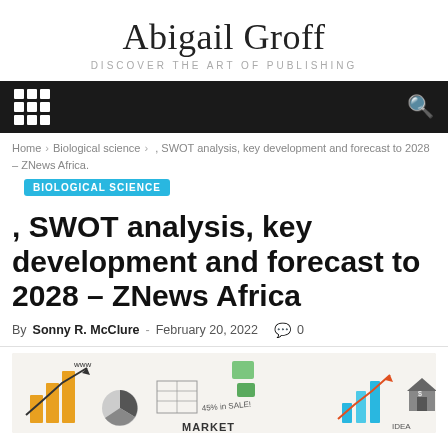Abigail Groff
DISCOVER THE ART OF PUBLISHING
Home › Biological science › , SWOT analysis, key development and forecast to 2028 – ZNews Africa.
BIOLOGICAL SCIENCE
, SWOT analysis, key development and forecast to 2028 – ZNews Africa
By Sonny R. McClure - February 20, 2022  0
[Figure (photo): Market analysis illustration showing bar charts, pie charts, arrows, sticky notes on whiteboard with market/finance related drawings and text including 'www', '45% SALE', 'MARKET', 'IDEA']